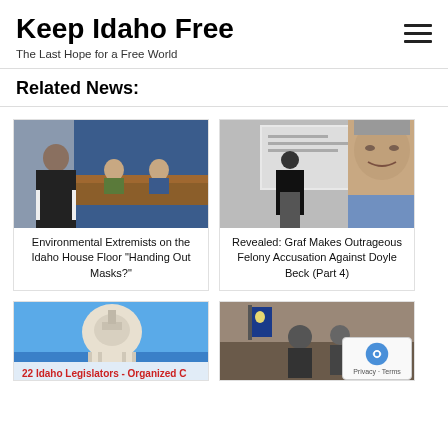Keep Idaho Free
The Last Hope for a Free World
Related News:
[Figure (photo): People at a hearing room; a person in a black hoodie stands in foreground while officials sit at a wooden dais with blue curtains in the background.]
Environmental Extremists on the Idaho House Floor "Handing Out Masks?"
[Figure (photo): Black and white photo of a man in a suit speaking at a podium with a screen behind him, and a larger close-up of an older man's face on the right.]
Revealed: Graf Makes Outrageous Felony Accusation Against Doyle Beck (Part 4)
[Figure (photo): Photo of Idaho state capitol building dome against blue sky with text overlay reading '22 Idaho Legislators - Organized C...']
[Figure (photo): Photo of a building interior or exterior with an Idaho flag visible.]